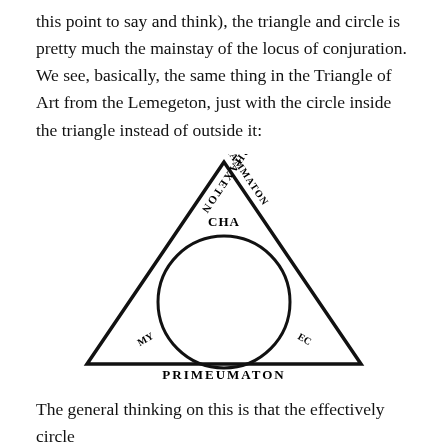this point to say and think), the triangle and circle is pretty much the mainstay of the locus of conjuration. We see, basically, the same thing in the Triangle of Art from the Lemegeton, just with the circle inside the triangle instead of outside it:
[Figure (illustration): Triangle of Art from the Lemegeton: a large equilateral triangle with text along each side (ANAPHAXETON along top-left side, text along top-right, PRIMEUMATON along the bottom outside), a circle inscribed inside the triangle, and the word CHA at the top interior. The lettering along the sides is rotated to follow the edges.]
The general thinking on this is that the effectively circle